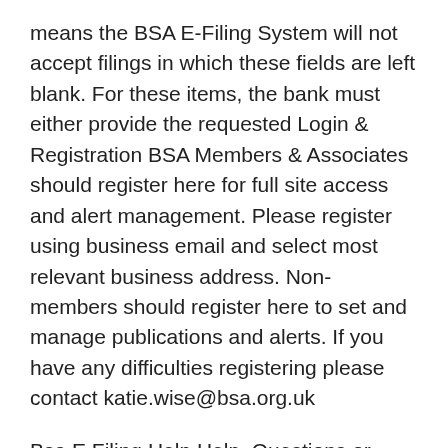means the BSA E-Filing System will not accept filings in which these fields are left blank. For these items, the bank must either provide the requested Login & Registration BSA Members & Associates should register here for full site access and alert management. Please register using business email and select most relevant business address. Non-members should register here to set and manage publications and alerts. If you have any difficulties registering please contact katie.wise@bsa.org.uk
Bsa E Filing Help Help. Questions or issues encountered during the Supervisory User enrollment process may be directed to the BSA E-Filing Help Desk at 1-866-346-9478 or via